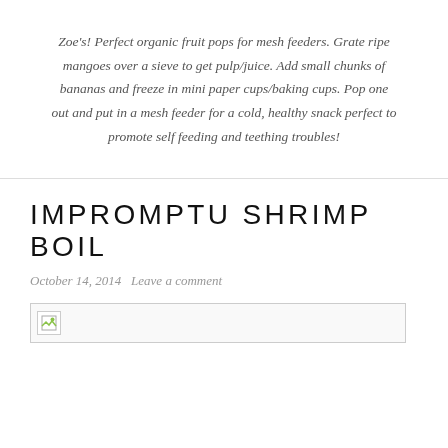Zoe's! Perfect organic fruit pops for mesh feeders. Grate ripe mangoes over a sieve to get pulp/juice. Add small chunks of bananas and freeze in mini paper cups/baking cups. Pop one out and put in a mesh feeder for a cold, healthy snack perfect to promote self feeding and teething troubles!
IMPROMPTU SHRIMP BOIL
October 14, 2014   Leave a comment
[Figure (photo): Broken/unloaded image placeholder]